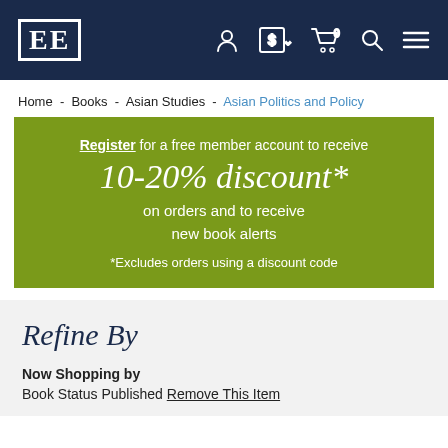EE logo with navigation icons: account, currency ($), cart (0), search, menu
Home - Books - Asian Studies - Asian Politics and Policy
Register for a free member account to receive 10-20% discount* on orders and to receive new book alerts *Excludes orders using a discount code
Refine By
Now Shopping by
Book Status Published Remove This Item